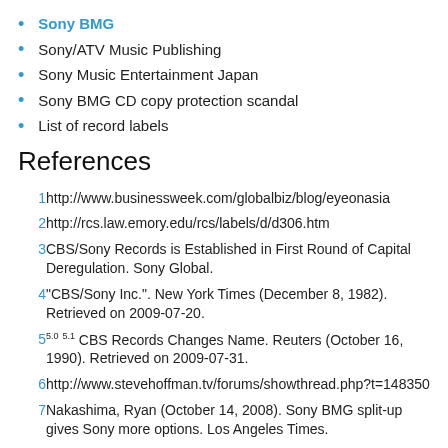Sony BMG
Sony/ATV Music Publishing
Sony Music Entertainment Japan
Sony BMG CD copy protection scandal
List of record labels
References
1  http://www.businessweek.com/globalbiz/blog/eyeonasia
2  http://rcs.law.emory.edu/rcs/labels/d/d306.htm
3  CBS/Sony Records is Established in First Round of Capital Deregulation. Sony Global.
4  "CBS/Sony Inc.". New York Times (December 8, 1982). Retrieved on 2009-07-20.
5  5.0 5.1 CBS Records Changes Name. Reuters (October 16, 1990). Retrieved on 2009-07-31.
6  http://www.stevehoffman.tv/forums/showthread.php?t=148350
7  Nakashima, Ryan (October 14, 2008). Sony BMG split-up gives Sony more options. Los Angeles Times.